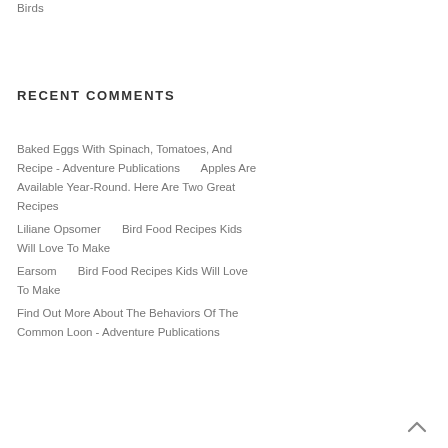Birds
RECENT COMMENTS
Baked Eggs With Spinach, Tomatoes, And Recipe - Adventure Publications      Apples Are Available Year-Round. Here Are Two Great Recipes
Liliane Opsomer      Bird Food Recipes Kids Will Love To Make
Earsom      Bird Food Recipes Kids Will Love To Make
Find Out More About The Behaviors Of The Common Loon - Adventure Publications